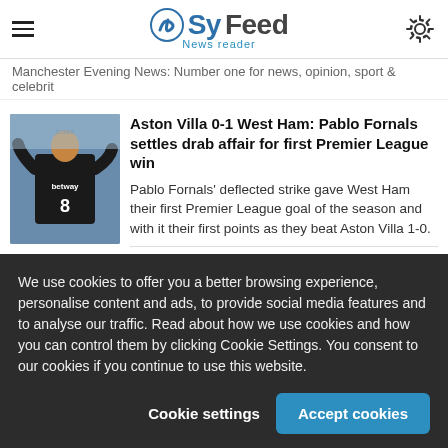SyFeed News reader
Manchester Evening News: Number one for news, opinion, sport & celebrit
Aston Villa 0-1 West Ham: Pablo Fornals settles drab affair for first Premier League win
Pablo Fornals' deflected strike gave West Ham their first Premier League goal of the season and with it their first points as they beat Aston Villa 1-0.
42 m
London News | London Evening Standard - London's newspaper
We use cookies to offer you a better browsing experience, personalise content and ads, to provide social media features and to analyse our traffic. Read about how we use cookies and how you can control them by clicking Cookie Settings. You consent to our cookies if you continue to use this website.